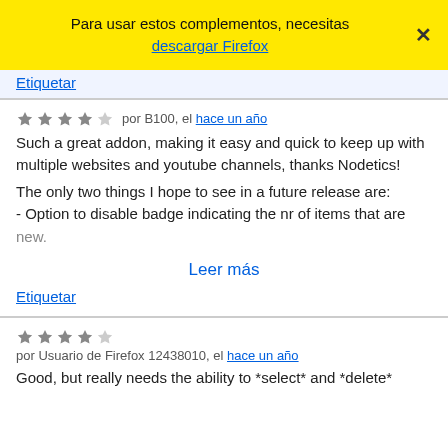Para usar estos complementos, necesitas descargar Firefox ×
Etiquetar
★★★★☆ por B100, el hace un año
Such a great addon, making it easy and quick to keep up with multiple websites and youtube channels, thanks Nodetics!

The only two things I hope to see in a future release are:
- Option to disable badge indicating the nr of items that are new.
Leer más
Etiquetar
★★★★☆ por Usuario de Firefox 12438010, el hace un año
Good, but really needs the ability to *select* and *delete*